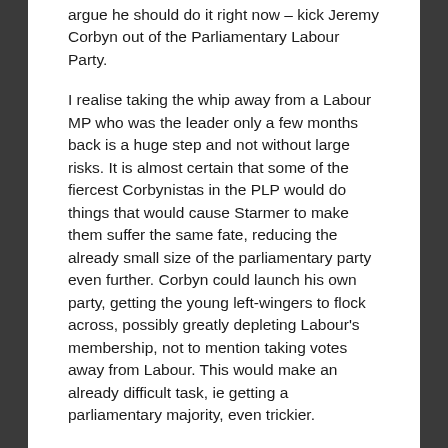argue he should do it right now – kick Jeremy Corbyn out of the Parliamentary Labour Party.
I realise taking the whip away from a Labour MP who was the leader only a few months back is a huge step and not without large risks. It is almost certain that some of the fiercest Corbynistas in the PLP would do things that would cause Starmer to make them suffer the same fate, reducing the already small size of the parliamentary party even further. Corbyn could launch his own party, getting the young left-wingers to flock across, possibly greatly depleting Labour's membership, not to mention taking votes away from Labour. This would make an already difficult task, ie getting a parliamentary majority, even trickier.
Now let's look at the arguments for removing the whip from Corbyn as soon as possible. As I said, Corbyn looks set to force Starmer's hand. He seems to want to provoke and isn't going to go into some sort of semi-retirement, that much is abundantly clear now. Starmer probably wants to wait for JC